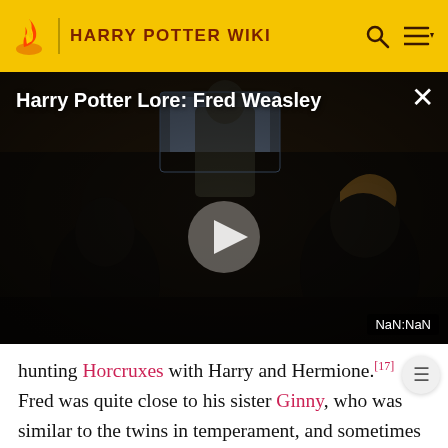HARRY POTTER WIKI
[Figure (screenshot): Video player showing 'Harry Potter Lore: Fred Weasley' with a dark scene from Harry Potter film, play button in center, close button top right, NaN:NaN duration indicator bottom right.]
hunting Horcruxes with Harry and Hermione.[17] Fred was quite close to his sister Ginny, who was similar to the twins in temperament, and sometimes joined them in teasing others, especially Ron. They were protective of her, as well, and disapproved of her love life, it is unknown